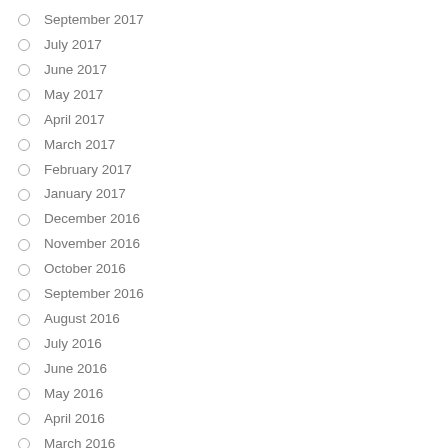September 2017
July 2017
June 2017
May 2017
April 2017
March 2017
February 2017
January 2017
December 2016
November 2016
October 2016
September 2016
August 2016
July 2016
June 2016
May 2016
April 2016
March 2016